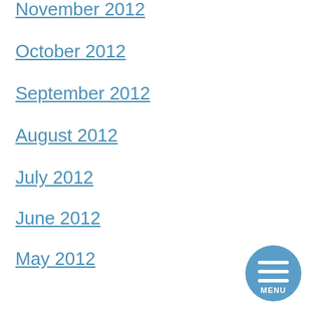November 2012
October 2012
September 2012
August 2012
July 2012
June 2012
May 2012
April 2012
March 2012
February 2012
January 2012
December 2011
November 2011
[Figure (other): Circular menu button with three horizontal lines and MENU text, blue background]